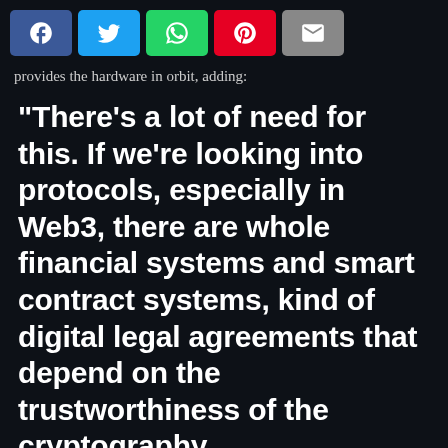[Figure (other): Social media share buttons row: Facebook (blue), Twitter (light blue), WhatsApp (green), Pinterest (red), Email (grey)]
provides the hardware in orbit, adding:
“There’s a lot of need for this. If we’re looking into protocols, especially in Web3, there are whole financial systems and smart contract systems, kind of digital legal agreements that depend on the trustworthiness of the cryptography